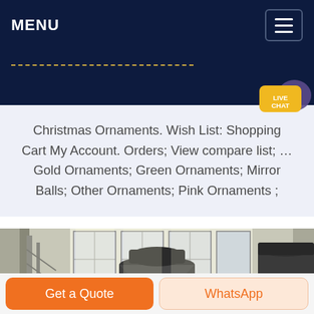MENU
Christmas Ornaments. Wish List: Shopping Cart My Account. Orders; View compare list; ... Gold Ornaments; Green Ornaments; Mirror Balls; Other Ornaments; Pink Ornaments ;
[Figure (photo): Industrial facility interior showing large dark metal cylindrical machinery/equipment (cone crushers or similar) mounted on orange bases, with warehouse windows in the background letting in natural light.]
Get a Quote
WhatsApp